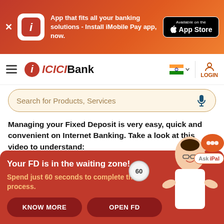[Figure (screenshot): ICICI Bank mobile app promotional banner with orange/red gradient background, app icon, text 'App that fits all your banking solutions - Install iMobile Pay app, now.' and App Store download button]
[Figure (logo): ICICI Bank logo with hamburger menu, flag selector with India flag, and LOGIN button]
[Figure (screenshot): Search bar with placeholder text 'Search for Products, Services' and microphone icon]
Managing your Fixed Deposit is very easy, quick and convenient on Internet Banking. Take a look at this video to understand:
1. View your FD details
2. Renew y...
3. Download...
4. View you...
5. Update ... case is S...
6. In case ... against y...
7. How can...
8. Submit R...
9. Download Interest Certificate for your tax filing
[Figure (screenshot): ICICI Bank FD popup overlay with orange-red background showing 'Your FD is in the waiting zone!' headline, 'Spend just 60 seconds to complete the process.' subtext, KNOW MORE and OPEN FD buttons, and a man holding a stopwatch]